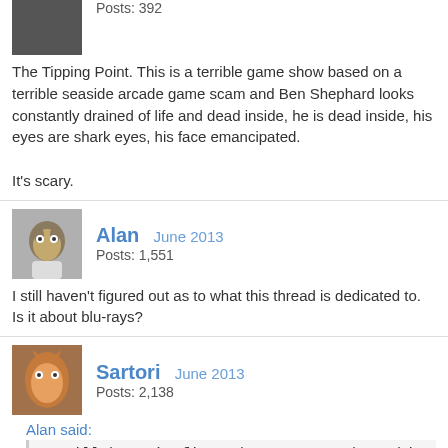Posts: 392
The Tipping Point. This is a terrible game show based on a terrible seaside arcade game scam and Ben Shephard looks constantly drained of life and dead inside, he is dead inside, his eyes are shark eyes, his face emancipated.

It's scary.
Alan  June 2013
Posts: 1,551
I still haven't figured out as to what this thread is dedicated to. Is it about blu-rays?
Sartori  June 2013
Posts: 2,138
Alan said:
I still haven't figured out as to what this thread is dedicated to. Is it about blu-rays?
Its about people saying the word "Rant" as they fall down a mineshaft